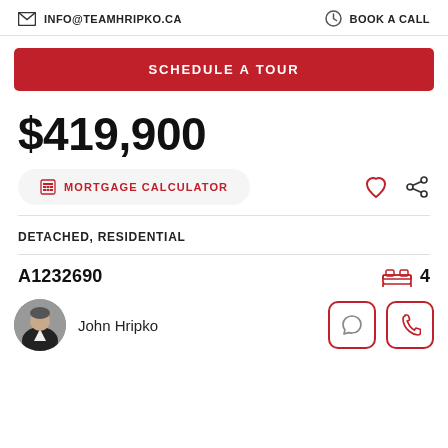INFO@TEAMHRIPKO.CA | BOOK A CALL
SCHEDULE A TOUR
$419,900
MORTGAGE CALCULATOR
DETACHED, RESIDENTIAL
A1232690  4
John Hripko